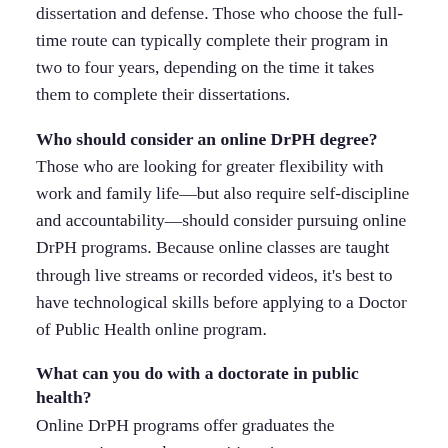dissertation and defense. Those who choose the full-time route can typically complete their program in two to four years, depending on the time it takes them to complete their dissertations.
Who should consider an online DrPH degree?
Those who are looking for greater flexibility with work and family life—but also require self-discipline and accountability—should consider pursuing online DrPH programs. Because online classes are taught through live streams or recorded videos, it's best to have technological skills before applying to a Doctor of Public Health online program.
What can you do with a doctorate in public health?
Online DrPH programs offer graduates the opportunity to seek out positions in government agencies, health care facilities or even community organizations. Professionals at the doctoral level have the potential to become instructors of public health at universities,